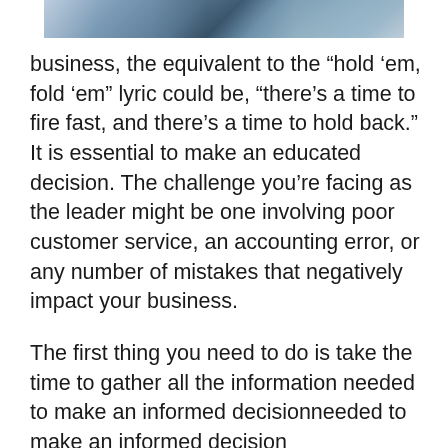[Figure (photo): Partial photo strip at the top of the page showing people, likely in a business or group setting, cropped to show only the upper portion.]
business, the equivalent to the “hold ‘em, fold ‘em” lyric could be, “there’s a time to fire fast, and there’s a time to hold back.” It is essential to make an educated decision. The challenge you’re facing as the leader might be one involving poor customer service, an accounting error, or any number of mistakes that negatively impact your business.
The first thing you need to do is take the time to gather all the information needed to make an informed decision